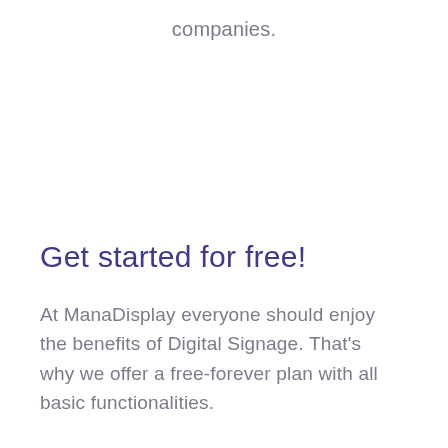companies.
Get started for free!
At ManaDisplay everyone should enjoy the benefits of Digital Signage. That's why we offer a free-forever plan with all basic functionalities.